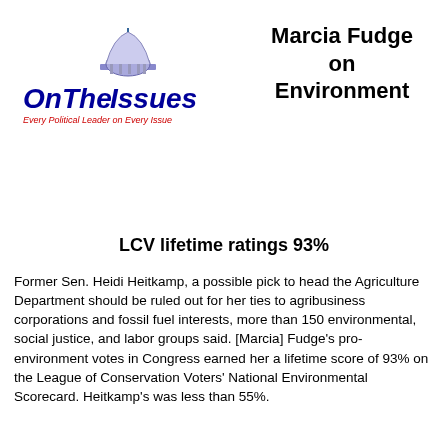[Figure (logo): OnTheIssues logo — stylized blue capitol dome above 'OnTheIssues' in large bold blue lettering with italic serif style, subtitle 'Every Political Leader on Every Issue' in red italic text]
Marcia Fudge on Environment
LCV lifetime ratings 93%
Former Sen. Heidi Heitkamp, a possible pick to head the Agriculture Department should be ruled out for her ties to agribusiness corporations and fossil fuel interests, more than 150 environmental, social justice, and labor groups said. [Marcia] Fudge's pro-environment votes in Congress earned her a lifetime score of 93% on the League of Conservation Voters' National Environmental Scorecard. Heitkamp's was less than 55%.